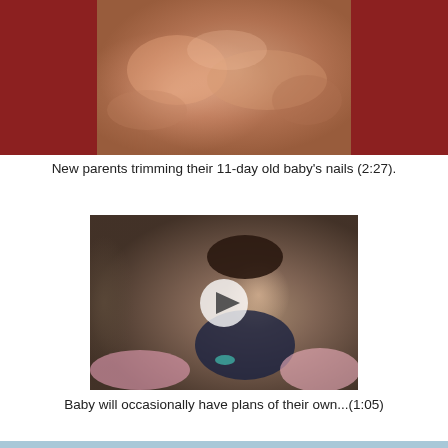[Figure (photo): Partial view of hands trimming a newborn baby's nails, close-up photo with reddish-brown sidebar borders on left and right]
New parents trimming their 11-day old baby's nails (2:27).
[Figure (screenshot): Video thumbnail showing a smiling baby in a dark outfit sitting with an adult, with a play button overlay in the center. Pink fabric visible in background.]
Baby will occasionally have plans of their own...(1:05)